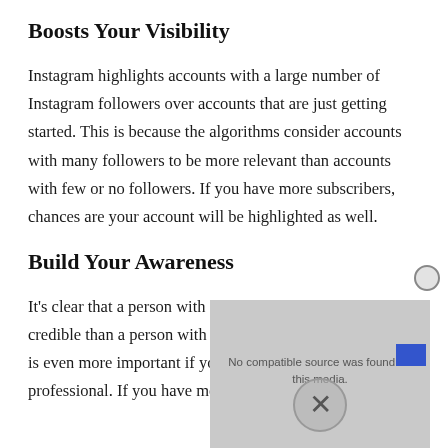Boosts Your Visibility
Instagram highlights accounts with a large number of Instagram followers over accounts that are just getting started. This is because the algorithms consider accounts with many followers to be more relevant than accounts with few or no followers. If you have more subscribers, chances are your account will be highlighted as well.
Build Your Awareness
It’s clear that a person with 10,000 Insta followers is more credible than a person with just 100 or 200 followers. This is even more important if your Instagram account is professional. If you have more followers, you will be
[Figure (other): Video player overlay showing 'No compatible source was found for this media.' message with close button and X icon]